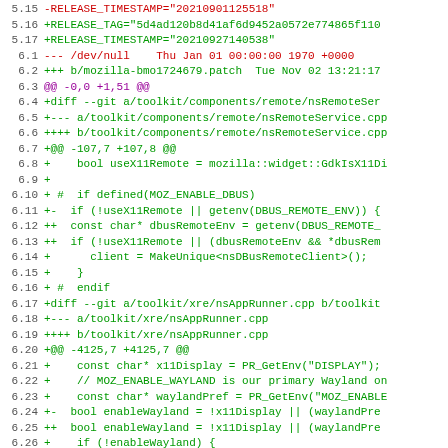Diff/patch code listing lines 5.15-6.29 showing git diff output with line numbers, removed lines in red, added lines in green, and hunk headers in purple.